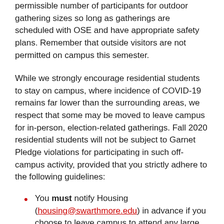permissible number of participants for outdoor gathering sizes so long as gatherings are scheduled with OSE and have appropriate safety plans. Remember that outside visitors are not permitted on campus this semester.
While we strongly encourage residential students to stay on campus, where incidence of COVID-19 remains far lower than the surrounding areas, we respect that some may be moved to leave campus for in-person, election-related gatherings. Fall 2020 residential students will not be subject to Garnet Pledge violations for participating in such off-campus activity, provided that you strictly adhere to the following guidelines:
You must notify Housing (housing@swarthmore.edu) in advance if you choose to leave campus to attend any large gatherings.